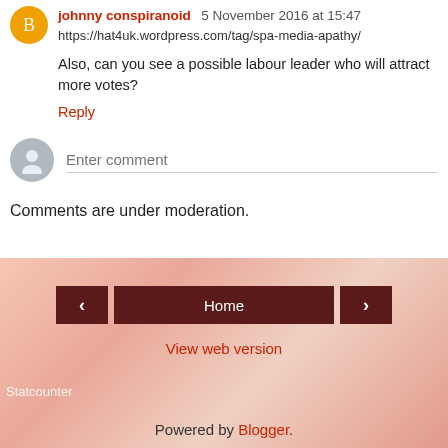johnny conspiranoid 5 November 2016 at 15:47
https://hat4uk.wordpress.com/tag/spa-media-apathy/
Also, can you see a possible labour leader who will attract more votes?
Reply
[Figure (other): Enter comment input field with gray user avatar]
Comments are under moderation.
< Home > navigation bar
View web version
Statcounter
Powered by Blogger.